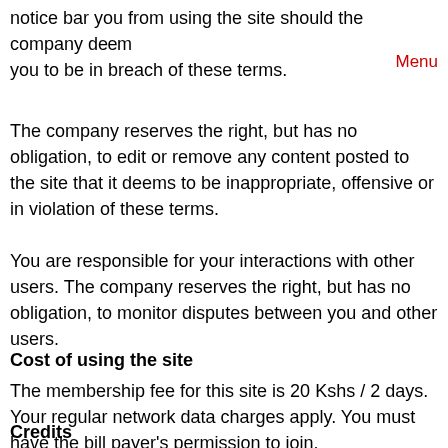notice bar you from using the site should the company deem you to be in breach of these terms.
Menu
The company reserves the right, but has no obligation, to edit or remove any content posted to the site that it deems to be inappropriate, offensive or in violation of these terms.
You are responsible for your interactions with other users. The company reserves the right, but has no obligation, to monitor disputes between you and other users.
Cost of using the site
The membership fee for this site is 20 Kshs / 2 days. Your regular network data charges apply. You must have the bill payer's permission to join.
Credits